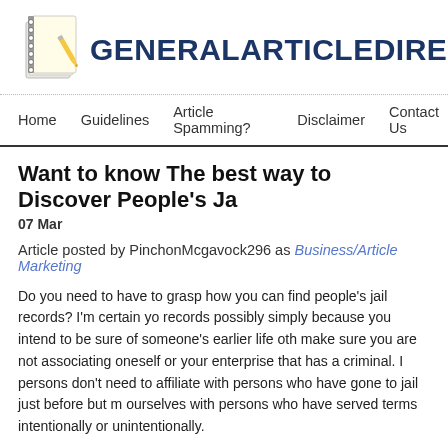GENERALARTICLEDIRECT
Home   Guidelines   Article Spamming?   Disclaimer   Contact Us
Want to know The best way to Discover People's Ja
07 Mar
Article posted by PinchonMcgavock296 as Business/Article Marketing
Do you need to have to grasp how you can find people's jail records? I'm certain yo records possibly simply because you intend to be sure of someone's earlier life oth make sure you are not associating oneself or your enterprise that has a criminal. I persons don't need to affiliate with persons who have gone to jail just before but m ourselves with persons who have served terms intentionally or unintentionally.
But definitely, before you decide to give your rely on, it's crucial to find out the histo being. In overwhelming conditions, you are able to seem if that someone possesse Deal with it, judging people today via their overall look won't ever help! For you to n at the jail document to the place exactly where the person claimed to stay. The mo